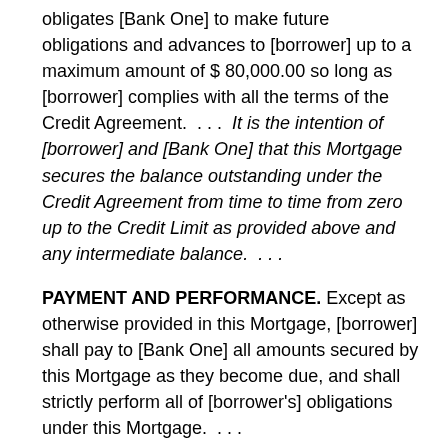obligates [Bank One] to make future obligations and advances to [borrower] up to a maximum amount of $ 80,000.00 so long as [borrower] complies with all the terms of the Credit Agreement.  . . .  It is the intention of [borrower] and [Bank One] that this Mortgage secures the balance outstanding under the Credit Agreement from time to time from zero up to the Credit Limit as provided above and any intermediate balance.  . . .
PAYMENT AND PERFORMANCE. Except as otherwise provided in this Mortgage, [borrower] shall pay to [Bank One] all amounts secured by this Mortgage as they become due, and shall strictly perform all of [borrower's] obligations under this Mortgage.  . . .
FULL PERFORMANCE.  If [borrower] pays